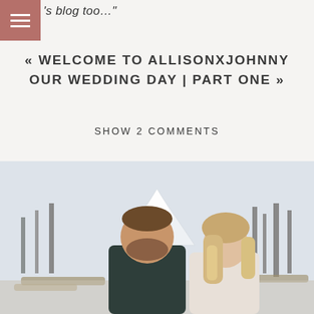's blog too…"
« WELCOME TO ALLISONXJOHNNY OUR WEDDING DAY | PART ONE »
SHOW 2 COMMENTS
[Figure (photo): A couple standing outdoors in a natural setting with bare trees and a snowy mountain in the background. A bearded man in a dark jacket stands next to a woman with blonde ombre hair wearing a light-colored top.]